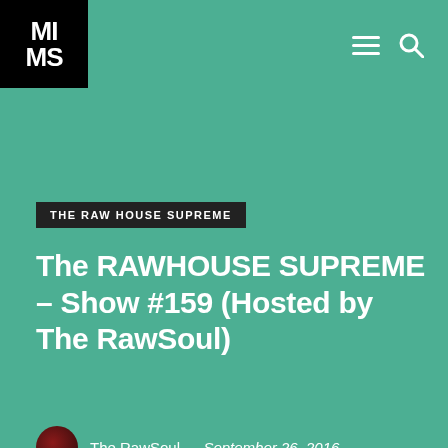[Figure (logo): MIMS logo: white MI/MS text on black square background]
THE RAW HOUSE SUPREME
The RAWHOUSE SUPREME – Show #159 (Hosted by The RawSoul)
The RawSoul — September 26, 2016
HOUSE / TECHNO
This week we travel back to different days and times when